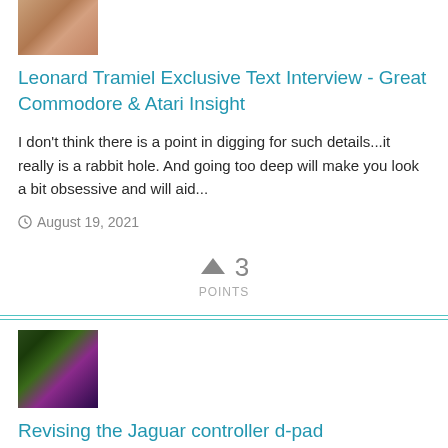[Figure (photo): Avatar thumbnail image - skin toned/brown tones, partial face visible]
Leonard Tramiel Exclusive Text Interview - Great Commodore & Atari Insight
I don't think there is a point in digging for such details...it really is a rabbit hole. And going too deep will make you look a bit obsessive and will aid...
August 19, 2021
↑ 3
POINTS
[Figure (illustration): Avatar thumbnail - green monster/creature with purple background, glowing eyes and tentacles]
Revising the Jaguar controller d-pad
Two complete playthroughs of The Chaos Engine (PAL + NTSC) using the new DPAD ... There isn't